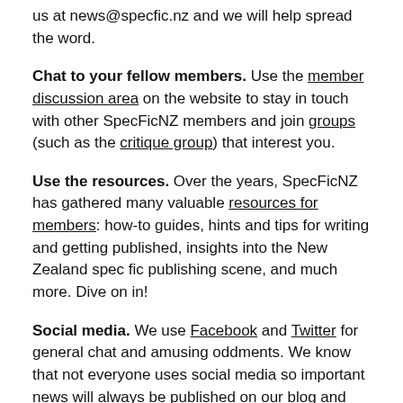us at news@specfic.nz and we will help spread the word.
Chat to your fellow members. Use the member discussion area on the website to stay in touch with other SpecFicNZ members and join groups (such as the critique group) that interest you.
Use the resources. Over the years, SpecFicNZ has gathered many valuable resources for members: how-to guides, hints and tips for writing and getting published, insights into the New Zealand spec fic publishing scene, and much more. Dive on in!
Social media. We use Facebook and Twitter for general chat and amusing oddments. We know that not everyone uses social media so important news will always be published on our blog and newsletter.
Submit a question, concern or proposal to the committee. The